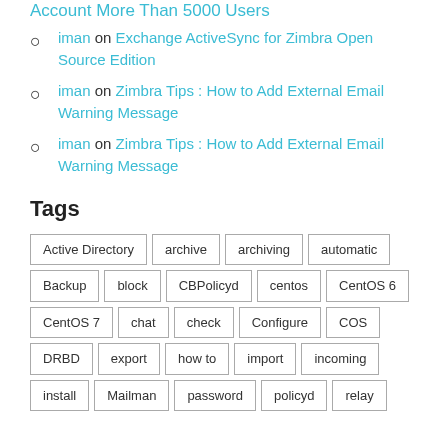iman on Exchange ActiveSync for Zimbra Open Source Edition
iman on Zimbra Tips : How to Add External Email Warning Message
iman on Zimbra Tips : How to Add External Email Warning Message
Tags
Active Directory archive archiving automatic Backup block CBPolicyd centos CentOS 6 CentOS 7 chat check Configure COS DRBD export how to import incoming install Mailman password policyd relay